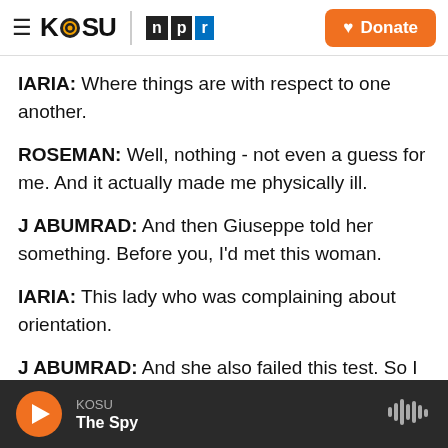KOSU | NPR — Donate
IARIA: Where things are with respect to one another.
ROSEMAN: Well, nothing - not even a guess for me. And it actually made me physically ill.
J ABUMRAD: And then Giuseppe told her something. Before you, I'd met this woman.
IARIA: This lady who was complaining about orientation.
J ABUMRAD: And she also failed this test. So I brought her in.
KOSU — The Spy